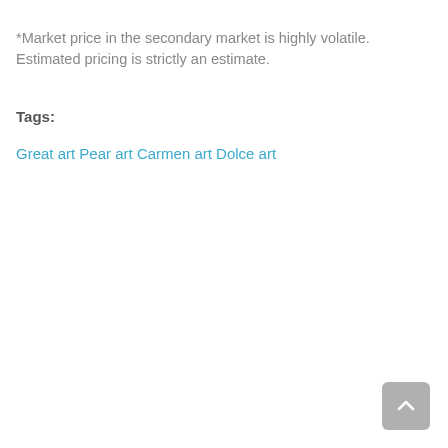*Market price in the secondary market is highly volatile. Estimated pricing is strictly an estimate.
Tags:
Great art Pear art Carmen art Dolce art